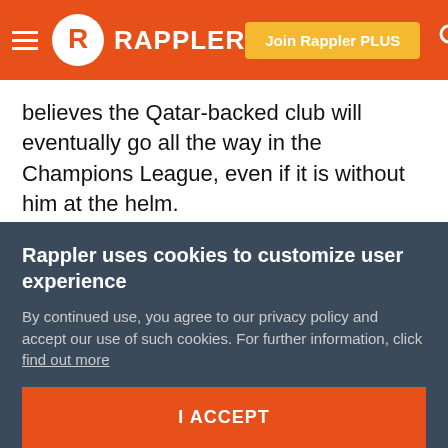Rappler — Join Rappler PLUS
believes the Qatar-backed club will eventually go all the way in the Champions League, even if it is without him at the helm.
"We all want it to be quick and fast. But I'm convinced PSG can do it," he said.
"It's sure that we will continue, as much as patience allows, to build a team which can win in the future. When I came here I said I was sure this team can win the Champions
Rappler uses cookies to customize user experience
By continued use, you agree to our privacy policy and accept our use of such cookies. For further information, click find out more
I ACCEPT